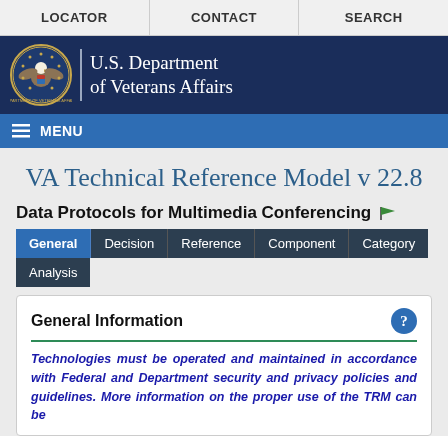LOCATOR | CONTACT | SEARCH
[Figure (logo): U.S. Department of Veterans Affairs seal and header banner with navy blue background]
MENU
VA Technical Reference Model v 22.8
Data Protocols for Multimedia Conferencing
General | Decision | Reference | Component | Category | Analysis tabs
General Information
Technologies must be operated and maintained in accordance with Federal and Department security and privacy policies and guidelines. More information on the proper use of the TRM can be